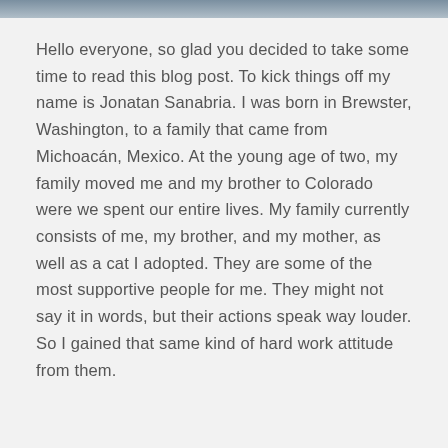[Figure (photo): Partial photo strip at the top of the page showing the bottom edge of a photograph of a person.]
Hello everyone, so glad you decided to take some time to read this blog post. To kick things off my name is Jonatan Sanabria. I was born in Brewster, Washington, to a family that came from Michoacán, Mexico. At the young age of two, my family moved me and my brother to Colorado were we spent our entire lives. My family currently consists of me, my brother, and my mother, as well as a cat I adopted. They are some of the most supportive people for me. They might not say it in words, but their actions speak way louder. So I gained that same kind of hard work attitude from them.